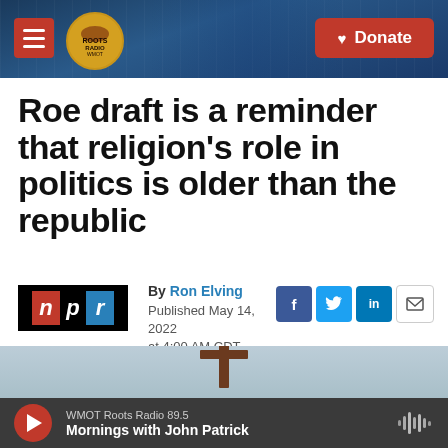WMOT Roots Radio — Donate
Roe draft is a reminder that religion's role in politics is older than the republic
By Ron Elving
Published May 14, 2022 at 4:00 AM CDT
[Figure (photo): A wooden cross against a gray sky]
WMOT Roots Radio 89.5 — Mornings with John Patrick